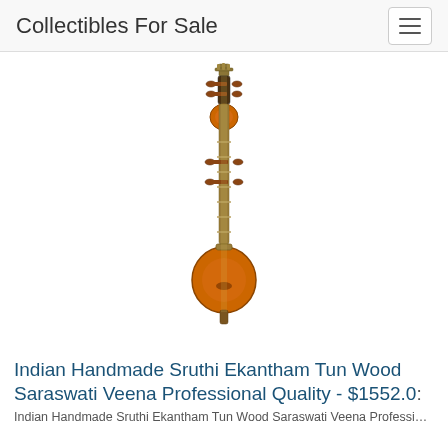Collectibles For Sale
[Figure (photo): A miniature Indian Saraswati Veena musical instrument with an orange/amber wooden body, brass frets along a long neck, tuning pegs on both sides, and decorative crown at the top. The instrument is photographed vertically on a white background.]
Indian Handmade Sruthi Ekantham Tun Wood Saraswati Veena Professional Quality - $1552.0
Indian Handmade Sruthi Ekantham Tun Wood Saraswati Veena Professional Qu...